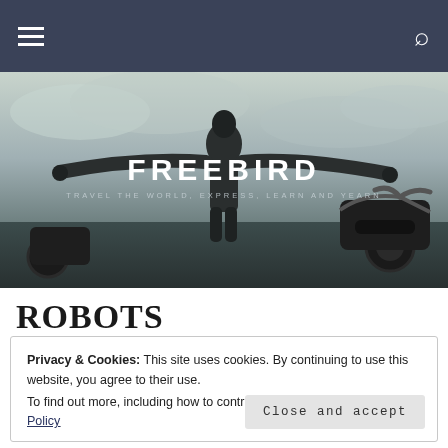Navigation bar with hamburger menu and search icon
[Figure (photo): Hero image of a motorcyclist with arms outstretched standing in front of a dramatic cloudy sky, with a motorcycle visible on the right. Overlaid text reads FREEBIRD and TRAVEL THE WORLD, EXPRESS, LEARN AND YEARN.]
FREEBIRD
TRAVEL THE WORLD, EXPRESS, LEARN AND YEARN
ROBOTS
Privacy & Cookies: This site uses cookies. By continuing to use this website, you agree to their use.
To find out more, including how to control cookies, see here: Cookie Policy
Close and accept